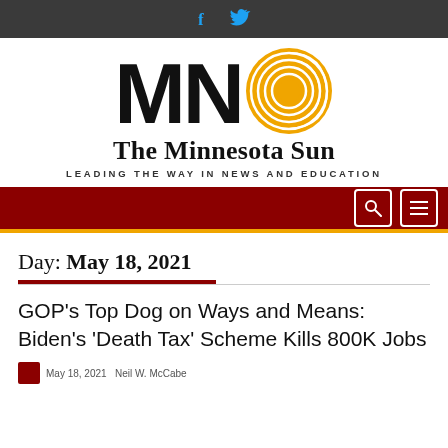Social media links: Facebook, Twitter
[Figure (logo): The Minnesota Sun logo with MN letters in black and a yellow spiral sun graphic, tagline: LEADING THE WAY IN NEWS AND EDUCATION]
Navigation bar with search and menu icons
Day: May 18, 2021
GOP's Top Dog on Ways and Means: Biden's 'Death Tax' Scheme Kills 800K Jobs